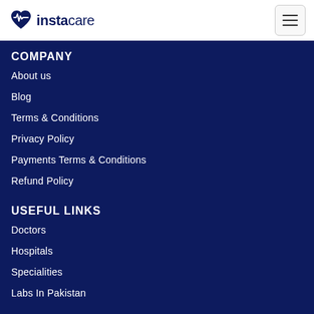[Figure (logo): Instacare logo with heart/waveform icon and text 'instacare']
COMPANY
About us
Blog
Terms & Conditions
Privacy Policy
Payments Terms & Conditions
Refund Policy
USEFUL LINKS
Doctors
Hospitals
Specialities
Labs In Pakistan